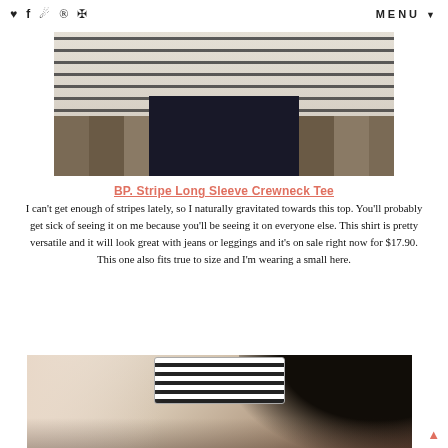♥ f ☖ ⊙ ✦   MENU
[Figure (photo): Person wearing a striped long-sleeve crewneck tee with dark leggings, taken in a room with wood flooring]
BP. Stripe Long Sleeve Crewneck Tee
I can't get enough of stripes lately, so I naturally gravitated towards this top. You'll probably get sick of seeing it on me because you'll be seeing it on everyone else. This shirt is pretty versatile and it will look great with jeans or leggings and it's on sale right now for $17.90. This one also fits true to size and I'm wearing a small here.
[Figure (photo): Selfie of a woman with curly hair holding a striped phone case taking a mirror selfie]